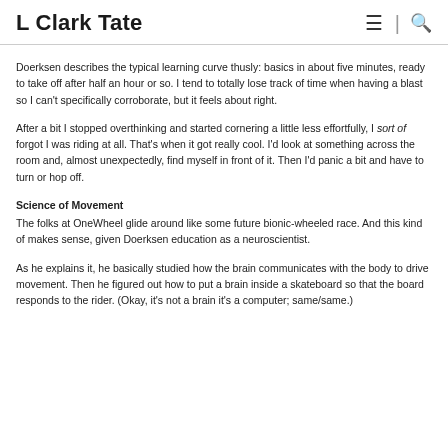L Clark Tate
Doerksen describes the typical learning curve thusly: basics in about five minutes, ready to take off after half an hour or so. I tend to totally lose track of time when having a blast so I can't specifically corroborate, but it feels about right.
After a bit I stopped overthinking and started cornering a little less effortfully, I sort of forgot I was riding at all. That's when it got really cool. I'd look at something across the room and, almost unexpectedly, find myself in front of it. Then I'd panic a bit and have to turn or hop off.
Science of Movement
The folks at OneWheel glide around like some future bionic-wheeled race. And this kind of makes sense, given Doerksen education as a neuroscientist.
As he explains it, he basically studied how the brain communicates with the body to drive movement. Then he figured out how to put a brain inside a skateboard so that the board responds to the rider. (Okay, it's not a brain it's a computer; same/same.)